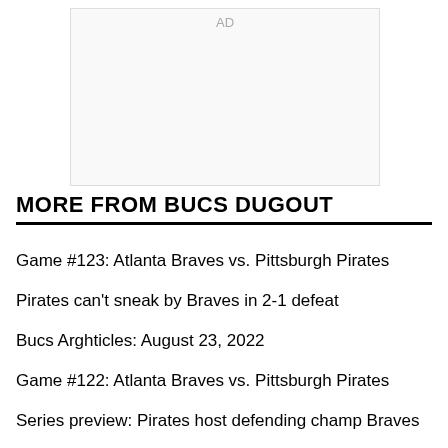[Figure (other): AD placeholder box]
MORE FROM BUCS DUGOUT
Game #123: Atlanta Braves vs. Pittsburgh Pirates
Pirates can't sneak by Braves in 2-1 defeat
Bucs Arghticles: August 23, 2022
Game #122: Atlanta Braves vs. Pittsburgh Pirates
Series preview: Pirates host defending champ Braves
Bucs Arghticles: August 22, 2022